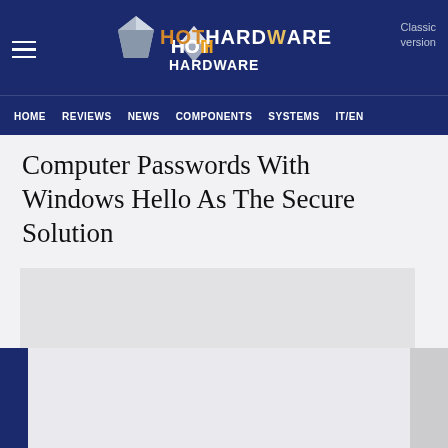HotHardware — Classic version | HOME | REVIEWS | NEWS | COMPONENTS | SYSTEMS | IT/EN
Computer Passwords With Windows Hello As The Secure Solution